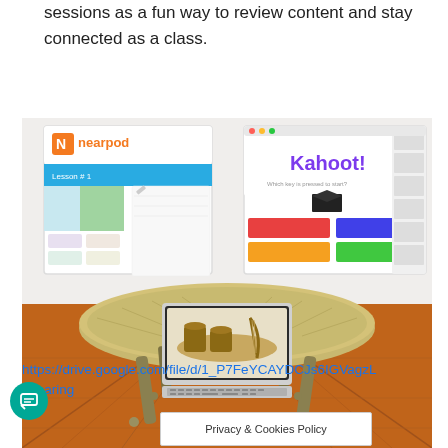sessions as a fun way to review content and stay connected as a class.
[Figure (illustration): Screenshot collage showing Nearpod and Kahoot! interfaces on the left and right, with a laptop on a round wooden table on a wooden floor in the center.]
https://drive.google.com/file/d/1_P7FeYCAYDCJs6IGVagzL...=sharing